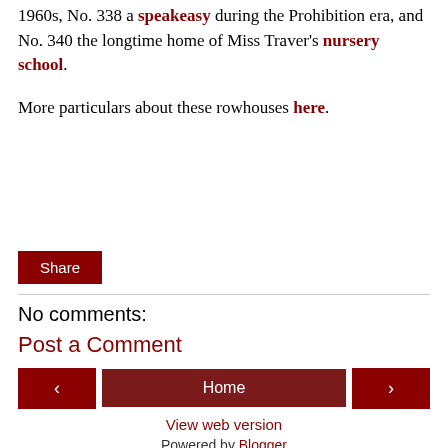1960s, No. 338 a speakeasy during the Prohibition era, and No. 340 the longtime home of Miss Traver's nursery school.
More particulars about these rowhouses here.
[Figure (other): Share button (dark red/maroon)]
No comments:
Post a Comment
[Figure (other): Navigation bar with left arrow, Home, and right arrow buttons]
View web version
Powered by Blogger